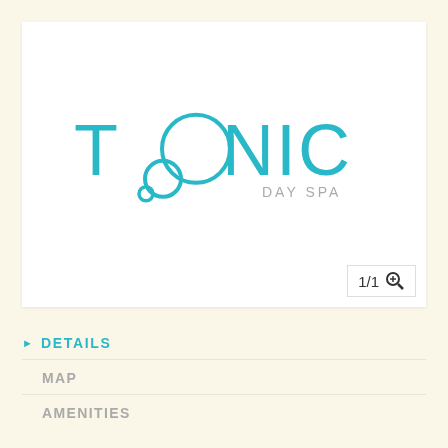[Figure (logo): Tonic Day Spa logo — the word TONIC in teal/cyan with two overlapping circles replacing the letter O, and 'DAY SPA' in smaller gray text below the right side.]
1/1 🔍
▶ DETAILS
MAP
AMENITIES